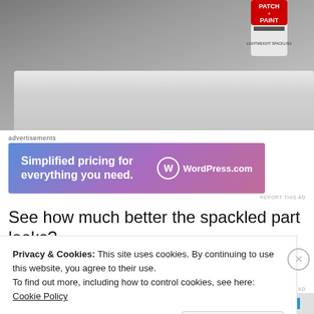[Figure (photo): Photo of a wall with dark stains/damage and a Patch+Paint product container visible in the top right corner. A white spackle knife or roller blade with wet spackle is visible in the lower portion of the image.]
Advertisements
[Figure (screenshot): WordPress.com advertisement banner with blue-to-purple gradient. Text reads: 'Simplified pricing for everything you need.' with WordPress.com logo on the right.]
REPORT THIS AD
See how much better the spackled part looks?
Privacy & Cookies: This site uses cookies. By continuing to use this website, you agree to their use.
To find out more, including how to control cookies, see here: Cookie Policy
Close and accept
REPORT THIS AD